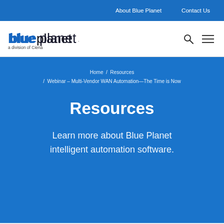About Blue Planet   Contact Us
[Figure (logo): Blue Planet logo - 'blueplanet' in blue bold text with 'a division of Ciena' subtitle, search icon and hamburger menu icon on the right]
Home / Resources / Webinar – Multi-Vendor WAN Automation—The Time is Now
Resources
Learn more about Blue Planet intelligent automation software.